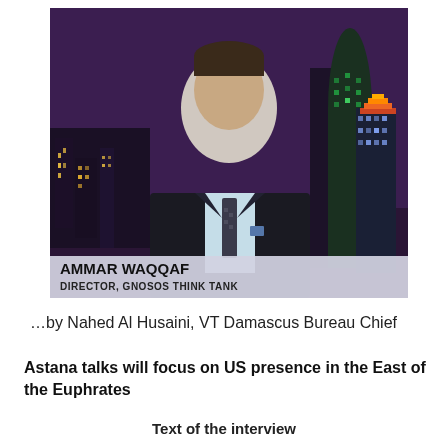[Figure (photo): TV screenshot of Ammar Waqqaf, a man in a dark suit with a patterned tie, against a London city skyline background at night. Lower-third graphic reads: AMMAR WAQQAF / DIRECTOR, GNOSOS THINK TANK]
…by Nahed Al Husaini, VT Damascus Bureau Chief
Astana talks will focus on US presence in the East of the Euphrates
Text of the interview